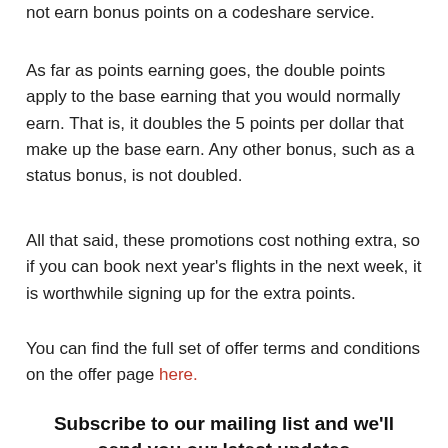not earn bonus points on a codeshare service.
As far as points earning goes, the double points apply to the base earning that you would normally earn. That is, it doubles the 5 points per dollar that make up the base earn. Any other bonus, such as a status bonus, is not doubled.
All that said, these promotions cost nothing extra, so if you can book next year’s flights in the next week, it is worthwhile signing up for the extra points.
You can find the full set of offer terms and conditions on the offer page here.
Subscribe to our mailing list and we’ll send you our latest updates